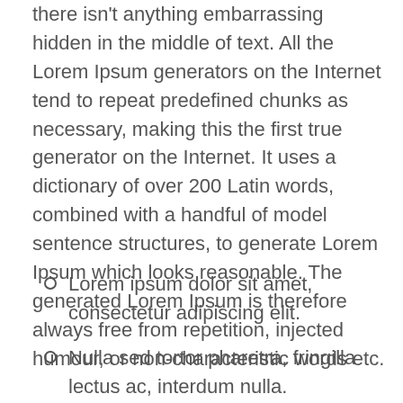there isn't anything embarrassing hidden in the middle of text. All the Lorem Ipsum generators on the Internet tend to repeat predefined chunks as necessary, making this the first true generator on the Internet. It uses a dictionary of over 200 Latin words, combined with a handful of model sentence structures, to generate Lorem Ipsum which looks reasonable. The generated Lorem Ipsum is therefore always free from repetition, injected humour, or non-characteristic words etc.
Lorem ipsum dolor sit amet, consectetur adipiscing elit.
Nulla sed tortor pharetra, fringilla lectus ac, interdum nulla.
Vestibulum congue ligula eget ...